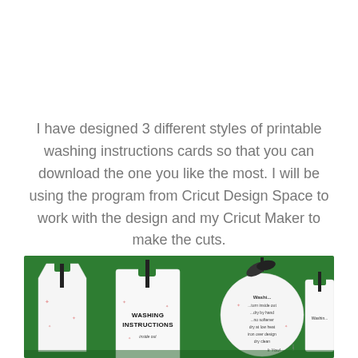I have designed 3 different styles of printable washing instructions cards so that you can download the one you like the most. I will be using the program from Cricut Design Space to work with the design and my Cricut Maker to make the cuts.
[Figure (photo): Photo of printable washing instruction cards on a green background. Cards include a house-shaped tag, a rectangle tag labeled 'WASHING INSTRUCTIONS', and a circular tag, all with black ribbon ties.]